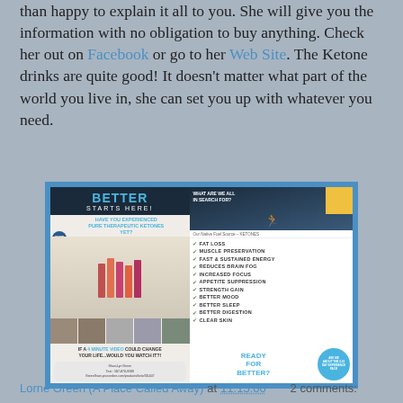than happy to explain it all to you. She will give you the information with no obligation to buy anything. Check her out on Facebook or go to her Web Site. The Ketone drinks are quite good! It doesn't matter what part of the world you live in, she can set you up with whatever you need.
[Figure (infographic): Prüvit Ketones promotional flyer split into two panels. Left panel: dark blue header 'BETTER STARTS HERE!', 'HAVE YOU EXPERIENCED PURE THERAPEUTIC KETONES YET?', product packet images, before/after photos, 'IF A 4 MINUTE VIDEO COULD CHANGE YOUR LIFE...WOULD YOU WATCH IT?!', contact info for Shari-Lyn Green. Right panel: 'WHAT ARE WE ALL IN SEARCH FOR?' with person silhouette, checklist: FAT LOSS, MUSCLE PRESERVATION, FAST & SUSTAINED ENERGY, REDUCES BRAIN FOG, INCREASED FOCUS, APPETITE SUPPRESSION, STRENGTH GAIN, BETTER MOOD, BETTER SLEEP, BETTER DIGESTION, CLEAR SKIN, 'READY FOR BETTER?' and 'ASK ME ABOUT THE 5-10 DAY EXPERIENCE PACK' circle.]
Lorne Green (A Place Called Away) at 11:15:00   2 comments: